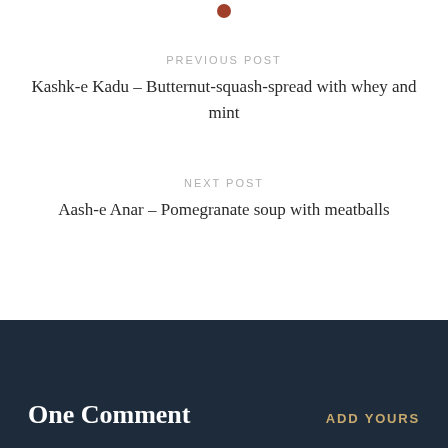[Figure (other): Small dark red circle/dot decorative separator]
PREVIOUS POST
Kashk-e Kadu – Butternut-squash-spread with whey and mint
NEXT POST
Aash-e Anar – Pomegranate soup with meatballs
One Comment
ADD YOURS